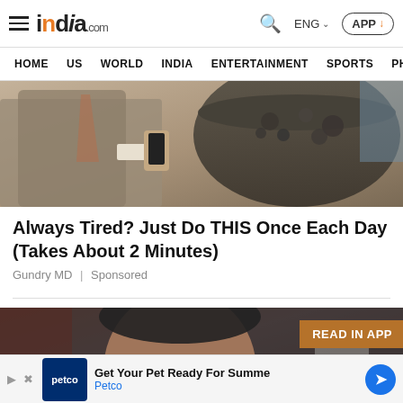india.com — HOME US WORLD INDIA ENTERTAINMENT SPORTS PHO
[Figure (photo): Man in suit holding a phone next to a large pot of black substance, sepia-toned]
Always Tired? Just Do THIS Once Each Day (Takes About 2 Minutes)
Gundry MD | Sponsored
[Figure (photo): Close-up of a man's face with intense expression, dark background, READ IN APP overlay]
Get Your Pet Ready For Summe Petco